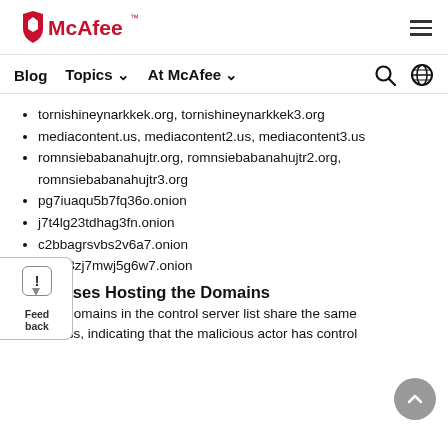McAfee
tornishineynarkkek.org, tornishineynarkkek3.org
mediacontent.us, mediacontent2.us, mediacontent3.us
romnsiebabanahujtr.org, romnsiebabanahujtr2.org, romnsiebabanahujtr3.org
pg7iuaqu5b7fq36o.onion
j7t4lg23tdhag3fn.onion
c2bbagrsvbs2v6a7.onion
hbs63zj7mwj5g6w7.onion
Addresses Hosting the Domains
Multiple domains in the control server list share the same IP address, indicating that the malicious actor has control